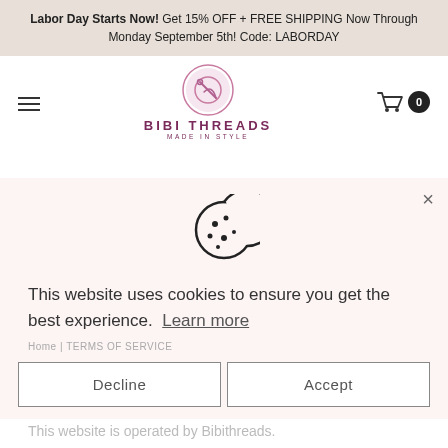Labor Day Starts Now! Get 15% OFF + FREE SHIPPING Now Through Monday September 5th! Code: LABORDAY
[Figure (logo): Bibi Threads logo with needle-thread circle icon, brand name BIBI THREADS, tagline MADE IN STYLE]
[Figure (infographic): Cookie consent modal popup with cookie icon, text, Decline and Accept buttons on pink background]
Terms Of Service
This website uses cookies to ensure you get the best experience.  Learn more
Home | TERMS OF SERVICE
OVERVIEW
This website is operated by Bibithreads.